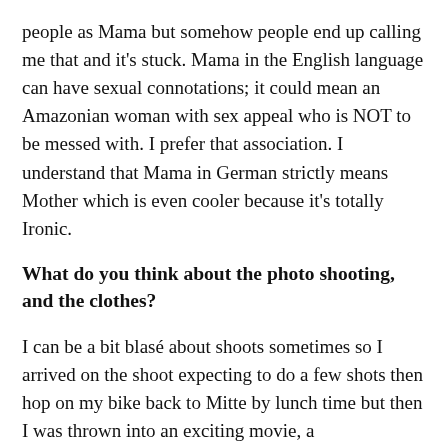people as Mama but somehow people end up calling me that and it's stuck. Mama in the English language can have sexual connotations; it could mean an Amazonian woman with sex appeal who is NOT to be messed with. I prefer that association. I understand that Mama in German strictly means Mother which is even cooler because it's totally Ironic.
What do you think about the photo shooting, and the clothes?
I can be a bit blasé about shoots sometimes so I arrived on the shoot expecting to do a few shots then hop on my bike back to Mitte by lunch time but then I was thrown into an exciting movie, a